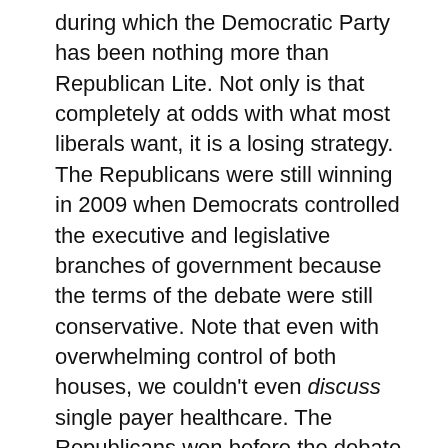during which the Democratic Party has been nothing more than Republican Lite. Not only is that completely at odds with what most liberals want, it is a losing strategy. The Republicans were still winning in 2009 when Democrats controlled the executive and legislative branches of government because the terms of the debate were still conservative. Note that even with overwhelming control of both houses, we couldn't even discuss single payer healthcare. The Republicans won before the debate started.
We need real liberals. New Deal liberals; Fair Deal liberals; Great Society liberals. Not Economic Conservative liberals. They aren't real liberals. When we elect one, we lose.